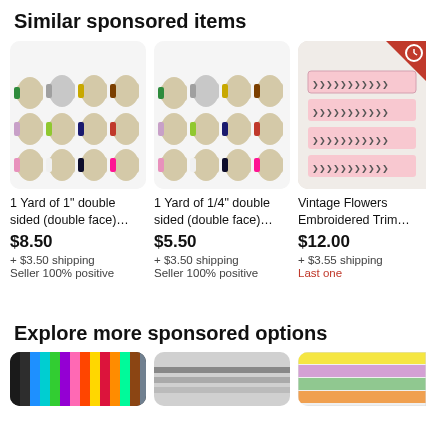Similar sponsored items
[Figure (photo): Grid of colorful thread spools on white/light background - Item 1]
1 Yard of 1" double sided (double face)…
$8.50
+ $3.50 shipping
Seller 100% positive
[Figure (photo): Grid of colorful thread spools on white/light background - Item 2]
1 Yard of 1/4" double sided (double face)…
$5.50
+ $3.50 shipping
Seller 100% positive
[Figure (photo): Vintage embroidered trim ribbon on fur background, with red corner badge/timer icon]
Vintage Flowers Embroidered Trim…
$12.00
+ $3.55 shipping
Last one
Explore more sponsored options
[Figure (photo): Colorful ribbon/velvet strips arranged vertically]
[Figure (photo): Partially visible product image]
[Figure (photo): Stacked colorful ribbons/spools]